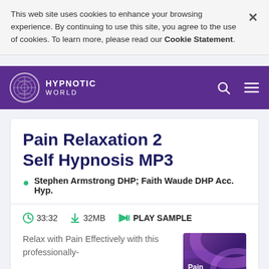This web site uses cookies to enhance your browsing experience. By continuing to use this site, you agree to the use of cookies. To learn more, please read our Cookie Statement.
HYPNOTIC WORLD
Pain Relaxation 2 Self Hypnosis MP3
Stephen Armstrong DHP; Faith Waude DHP Acc. Hyp.
33:32   32MB   PLAY SAMPLE
Relax with Pain Effectively with this professionally-
[Figure (photo): Product cover image for Pain Relaxation with purple swirling design and text 'Pain Relaxation']